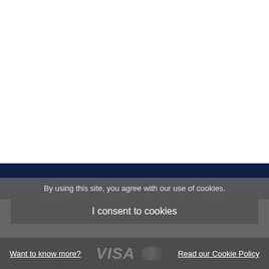By using this site, you agree with our use of cookies.
I consent to cookies
Want to know more?
Read our Cookie Policy